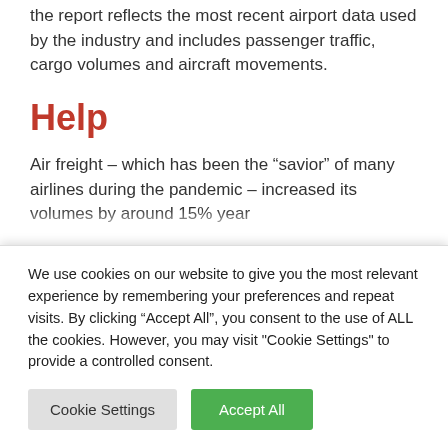the report reflects the most recent airport data used by the industry and includes passenger traffic, cargo volumes and aircraft movements.
Help
Air freight – which has been the “savior” of many airlines during the pandemic – increased its volumes by around 15% year
We use cookies on our website to give you the most relevant experience by remembering your preferences and repeat visits. By clicking “Accept All”, you consent to the use of ALL the cookies. However, you may visit "Cookie Settings" to provide a controlled consent.